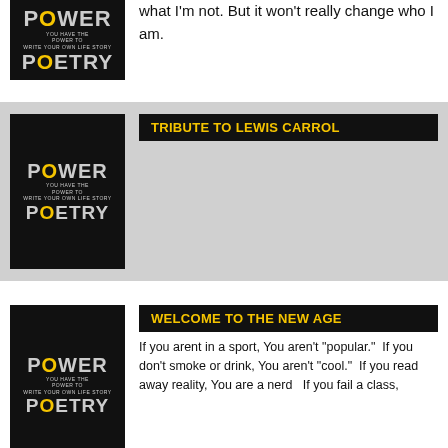what I'm not. But it won't really change who I am.
[Figure (illustration): Power Poetry thumbnail logo with black background, gray stylized letters]
TRIBUTE TO LEWIS CARROL
[Figure (illustration): Power Poetry thumbnail logo with black background, gray stylized letters]
WELCOME TO THE NEW AGE
If you arent in a sport, You aren't "popular."  If you don't smoke or drink, You aren't "cool."  If you read away reality, You are a nerd   If you fail a class,